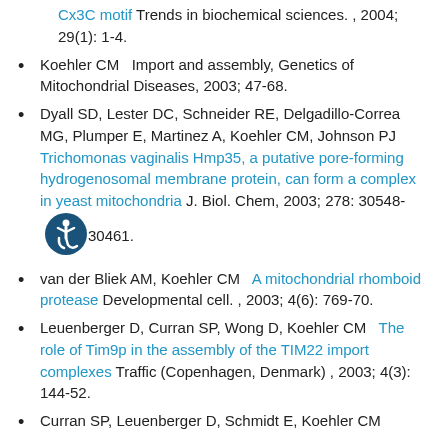Cx3C motif Trends in biochemical sciences. , 2004; 29(1): 1-4.
Koehler CM   Import and assembly, Genetics of Mitochondrial Diseases, 2003; 47-68.
Dyall SD, Lester DC, Schneider RE, Delgadillo-Correa MG, Plumper E, Martinez A, Koehler CM, Johnson PJ   Trichomonas vaginalis Hmp35, a putative pore-forming hydrogenosomal membrane protein, can form a complex in yeast mitochondria J. Biol. Chem, 2003; 278: 30548-30461.
van der Bliek AM, Koehler CM   A mitochondrial rhomboid protease Developmental cell. , 2003; 4(6): 769-70.
Leuenberger D, Curran SP, Wong D, Koehler CM   The role of Tim9p in the assembly of the TIM22 import complexes Traffic (Copenhagen, Denmark) , 2003; 4(3): 144-52.
Curran SP, Leuenberger D, Schmidt E, Koehler CM